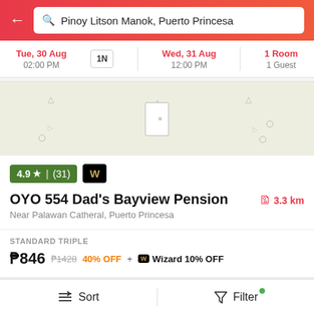Pinoy Litson Manok, Puerto Princesa
Tue, 30 Aug 02:00 PM | 1N | Wed, 31 Aug 12:00 PM | 1 Room 1 Guest
[Figure (screenshot): Map placeholder for hotel location]
4.9 ★ | (31)  W
OYO 554 Dad's Bayview Pension  3.3 km
Near Palawan Catheral, Puerto Princesa
STANDARD TRIPLE
₱846  ₱1428  40% OFF + W Wizard 10% OFF
OYO Hotels
Sort  Filter